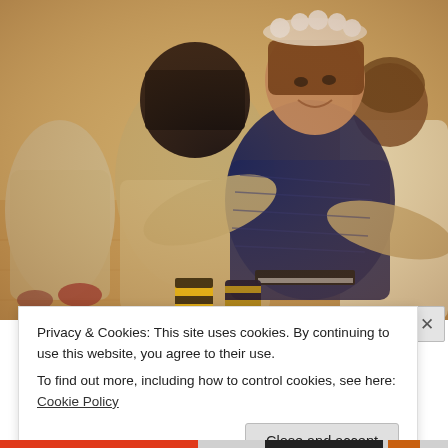[Figure (photo): Two children hugging on a wooden floor. One child wears a floral crown and dark blue knit sweater, the other wears a beige/tan outfit with striped yellow-and-black boots. Other children in similar beige outfits are visible in the background.]
Privacy & Cookies: This site uses cookies. By continuing to use this website, you agree to their use.
To find out more, including how to control cookies, see here: Cookie Policy
Close and accept